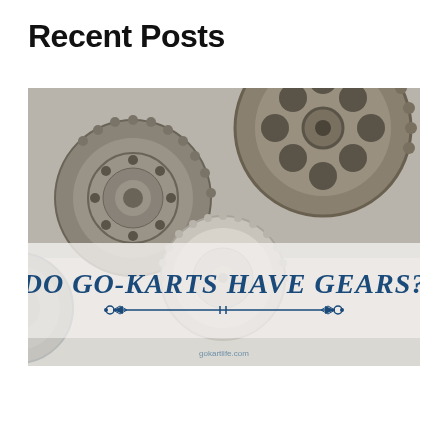Recent Posts
[Figure (photo): A sepia-toned photograph of multiple interlocking mechanical gears/cogs of various sizes against a light background, with overlaid text reading 'DO GO-KARTS HAVE GEARS?' in dark blue italic font and decorative arrow design, with 'gokartlife.com' watermark at bottom]